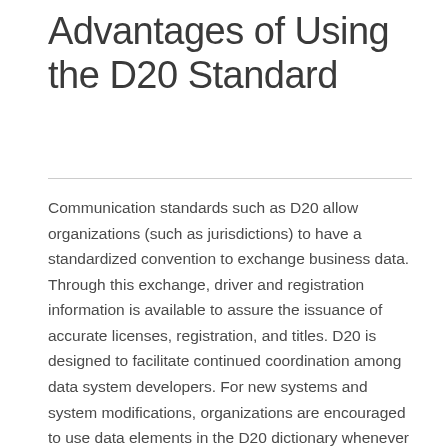Advantages of Using the D20 Standard
Communication standards such as D20 allow organizations (such as jurisdictions) to have a standardized convention to exchange business data. Through this exchange, driver and registration information is available to assure the issuance of accurate licenses, registration, and titles. D20 is designed to facilitate continued coordination among data system developers. For new systems and system modifications, organizations are encouraged to use data elements in the D20 dictionary whenever possible to promote consistency and uniformity.
D20 definitions are used in: